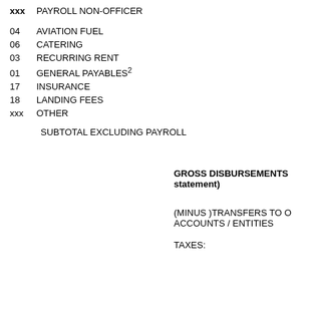xxx   PAYROLL NON-OFFICER
04   AVIATION FUEL
06   CATERING
03   RECURRING RENT
01   GENERAL PAYABLES²
17   INSURANCE
18   LANDING FEES
xxx   OTHER
SUBTOTAL EXCLUDING PAYROLL
GROSS DISBURSEMENTS statement)
(MINUS )TRANSFERS TO O ACCOUNTS / ENTITIES
TAXES: